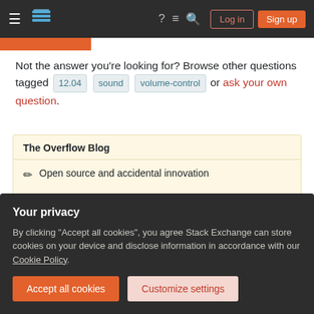Stack Exchange navigation bar with Log in and Sign up buttons
Not the answer you're looking for? Browse other questions tagged 12.04 sound volume-control or ask your own question.
The Overflow Blog
Open source and accidental innovation
The luckiest guy in AI (Ep. 477)
Featured on Meta
Your privacy
By clicking "Accept all cookies", you agree Stack Exchange can store cookies on your device and disclose information in accordance with our Cookie Policy.
Accept all cookies
Customize settings